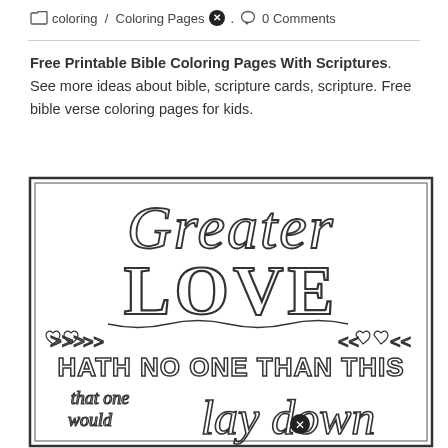coloring / Coloring Pages. 0 Comments
Free Printable Bible Coloring Pages With Scriptures. See more ideas about bible, scripture cards, scripture. Free bible verse coloring pages for kids.
[Figure (illustration): A coloring page illustration with decorative hand-lettered text reading 'Greater LOVE HATH NO ONE THAN THIS that one would lay down...' with hearts and decorative flourishes, in outline style for coloring.]